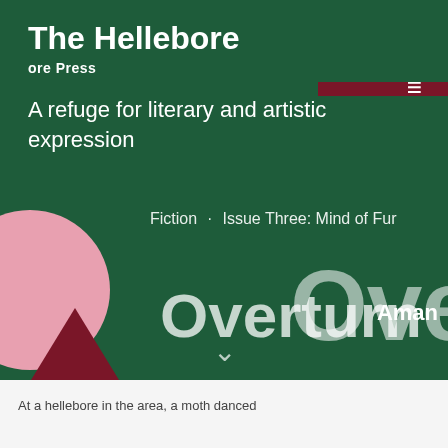The Hellebore
ore Press
A refuge for literary and artistic expression
Fiction · Issue Three: Mind of Fur
[Figure (illustration): Large overlapping white text reading 'Overturn' in two sizes on dark green background, with pink circle and dark red triangle decorative shapes in bottom left]
Aman
v